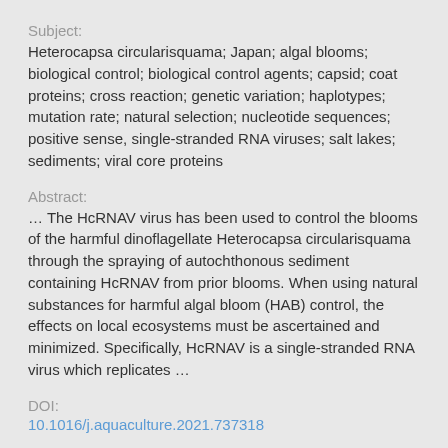Subject:
Heterocapsa circularisquama; Japan; algal blooms; biological control; biological control agents; capsid; coat proteins; cross reaction; genetic variation; haplotypes; mutation rate; natural selection; nucleotide sequences; positive sense, single-stranded RNA viruses; salt lakes; sediments; viral core proteins
Abstract:
… The HcRNAV virus has been used to control the blooms of the harmful dinoflagellate Heterocapsa circularisquama through the spraying of autochthonous sediment containing HcRNAV from prior blooms. When using natural substances for harmful algal bloom (HAB) control, the effects on local ecosystems must be ascertained and minimized. Specifically, HcRNAV is a single-stranded RNA virus which replicates …
DOI:
10.1016/j.aquaculture.2021.737318